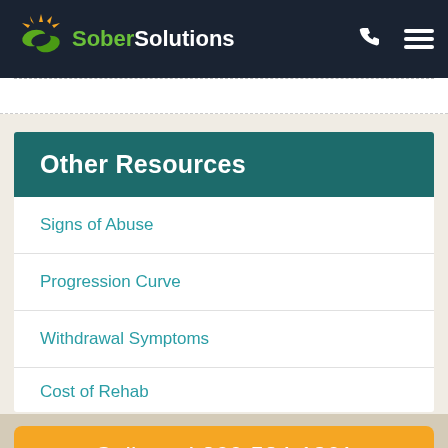[Figure (logo): Sober Solutions logo with green S icon and sunburst, on dark navy header bar with phone and menu icons]
Other Resources
Signs of Abuse
Progression Curve
Withdrawal Symptoms
Cost of Rehab
Call now! 866-524-1361
Confidential Free Help | 24/7 Availability